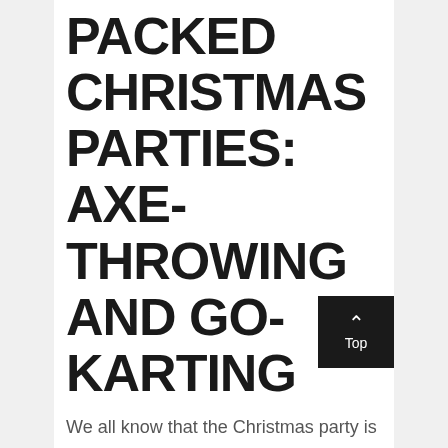PACKED CHRISTMAS PARTIES: AXE-THROWING AND GO-KARTING
We all know that the Christmas party is the perfect time for the team to let their hair down. Had a few work-related frustrations at the office? There is no better way to bury the hatchet than by throwing a few.